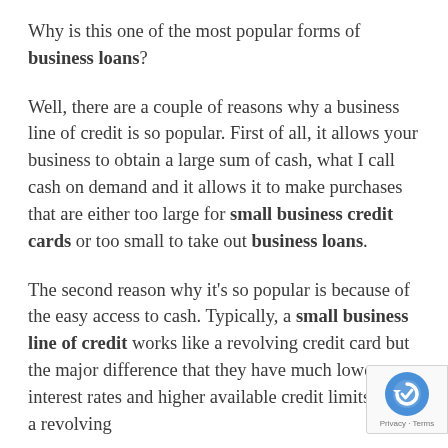Why is this one of the most popular forms of business loans?
Well, there are a couple of reasons why a business line of credit is so popular. First of all, it allows your business to obtain a large sum of cash, what I call cash on demand and it allows it to make purchases that are either too large for small business credit cards or too small to take out business loans.
The second reason why it's so popular is because of the easy access to cash. Typically, a small business line of credit works like a revolving credit card but the major difference that they have much lower interest rates and higher available credit limits than a revolving